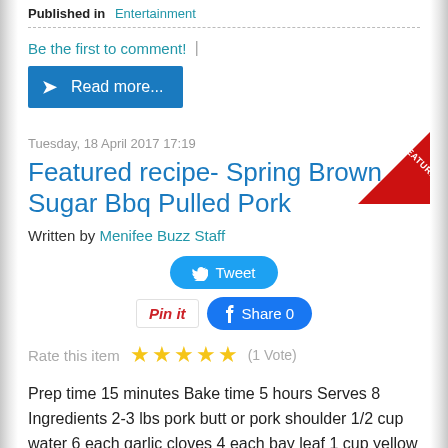Published in Entertainment
Be the first to comment!
Read more...
Tuesday, 18 April 2017 17:19
Featured recipe- Spring Brown Sugar Bbq Pulled Pork
Written by Menifee Buzz Staff
Tweet
Pin it   Share 0
Rate this item  (1 Vote)
Prep time 15 minutes Bake time 5 hours Serves 8 Ingredients 2-3 lbs pork butt or pork shoulder 1/2 cup water 6 each garlic cloves 4 each bay leaf 1 cup yellow onion rough chopped 3 Tbsp kosher salt 1 Tbsp coarse